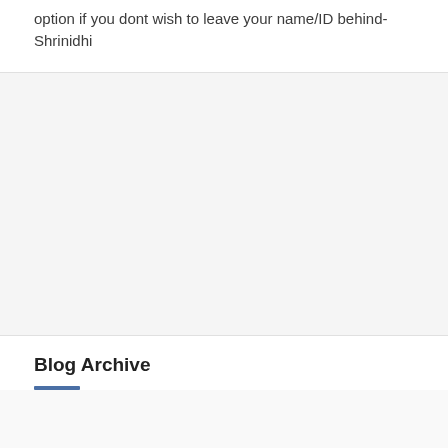option if you dont wish to leave your name/ID behind- Shrinidhi
Blog Archive